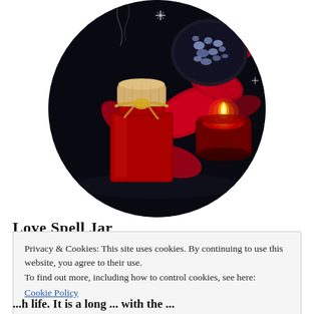[Figure (photo): Circular cropped photo on dark background showing a red square glass jar with a cork stopper tied with a gold ribbon, surrounded by red rose petals, a lit red tealight candle in a glass holder, and small blue heart-shaped confetti/stones on a dark plate. The scene is dark/gothic with sparkle effects.]
Love Spell Jar
Privacy & Cookies: This site uses cookies. By continuing to use this website, you agree to their use.
To find out more, including how to control cookies, see here: Cookie Policy
Close and accept
...hlife. It is a long ... with the ...